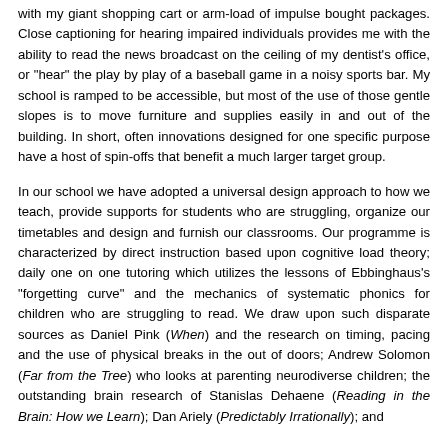with my giant shopping cart or arm-load of impulse bought packages. Close captioning for hearing impaired individuals provides me with the ability to read the news broadcast on the ceiling of my dentist's office, or "hear" the play by play of a baseball game in a noisy sports bar. My school is ramped to be accessible, but most of the use of those gentle slopes is to move furniture and supplies easily in and out of the building. In short, often innovations designed for one specific purpose have a host of spin-offs that benefit a much larger target group.
In our school we have adopted a universal design approach to how we teach, provide supports for students who are struggling, organize our timetables and design and furnish our classrooms. Our programme is characterized by direct instruction based upon cognitive load theory; daily one on one tutoring which utilizes the lessons of Ebbinghaus's "forgetting curve" and the mechanics of systematic phonics for children who are struggling to read. We draw upon such disparate sources as Daniel Pink (When) and the research on timing, pacing and the use of physical breaks in the out of doors; Andrew Solomon (Far from the Tree) who looks at parenting neurodiverse children; the outstanding brain research of Stanislas Dehaene (Reading in the Brain: How we Learn); Dan Ariely (Predictably Irrationally; and